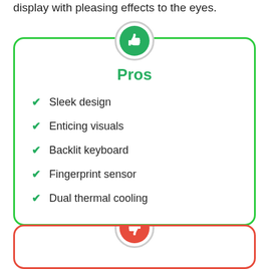display with pleasing effects to the eyes.
Pros
Sleek design
Enticing visuals
Backlit keyboard
Fingerprint sensor
Dual thermal cooling